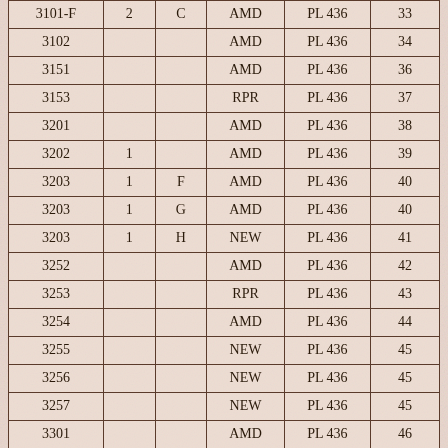| 3101-F | 2 | C | AMD | PL 436 | 33 |
| 3102 |  |  | AMD | PL 436 | 34 |
| 3151 |  |  | AMD | PL 436 | 36 |
| 3153 |  |  | RPR | PL 436 | 37 |
| 3201 |  |  | AMD | PL 436 | 38 |
| 3202 | 1 |  | AMD | PL 436 | 39 |
| 3203 | 1 | F | AMD | PL 436 | 40 |
| 3203 | 1 | G | AMD | PL 436 | 40 |
| 3203 | 1 | H | NEW | PL 436 | 41 |
| 3252 |  |  | AMD | PL 436 | 42 |
| 3253 |  |  | RPR | PL 436 | 43 |
| 3254 |  |  | AMD | PL 436 | 44 |
| 3255 |  |  | NEW | PL 436 | 45 |
| 3256 |  |  | NEW | PL 436 | 45 |
| 3257 |  |  | NEW | PL 436 | 45 |
| 3301 |  |  | AMD | PL 436 | 46 |
| 3352 | 2 |  | AMD | PL 436 | 47 |
| 3401 |  |  | AMD | PL 436 | 48 |
| 4005 | 5 |  | NEW | PL 372 | 1 |